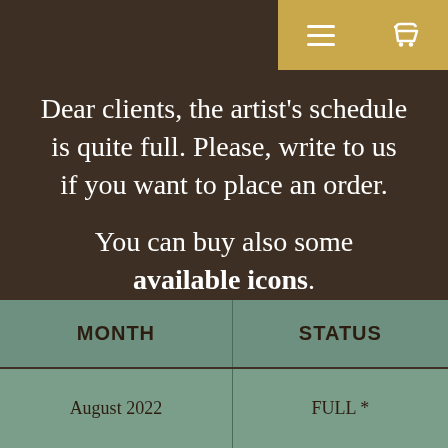navigation icons (menu and cart)
Dear clients, the artist's schedule is quite full. Please, write to us if you want to place an order.
You can buy also some available icons.
We remain open for any questions and inquiries.
| MONTH | STATUS |
| --- | --- |
| August 2022 | FULL * |